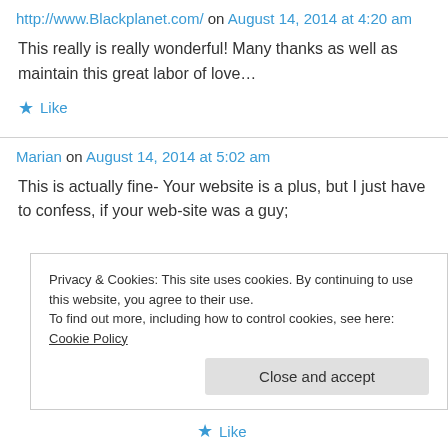http://www.Blackplanet.com/ on August 14, 2014 at 4:20 am
This really is really wonderful! Many thanks as well as maintain this great labor of love…
★ Like
Marian on August 14, 2014 at 5:02 am
This is actually fine- Your website is a plus, but I just have to confess, if your web-site was a guy;
Privacy & Cookies: This site uses cookies. By continuing to use this website, you agree to their use.
To find out more, including how to control cookies, see here: Cookie Policy
Close and accept
★ Like